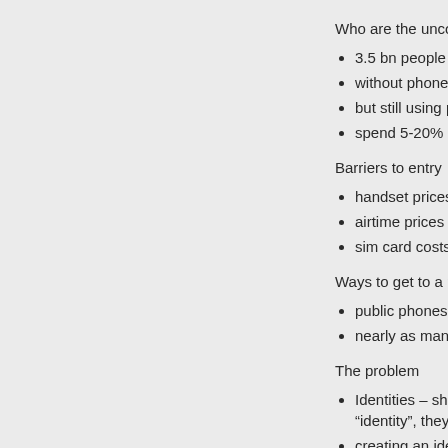Who are the unconnected
3.5 bn people not co...
without phone
but still using phone
spend 5-20% income
Barriers to entry
handset prices
airtime prices
sim card costs for op...
Ways to get to a phone -
public phones, perso...
nearly as many share...
The problem
Identities – shared ph... “identity”, they’re har...
creating an identity fo...
e.g. email exists beh...